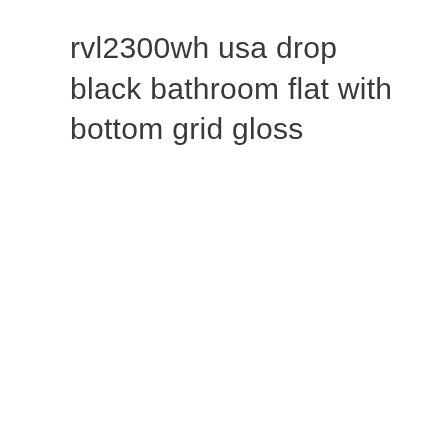rvl2300wh usa drop black bathroom flat with bottom grid gloss